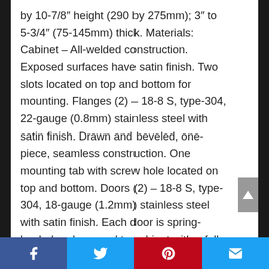by 10-7/8″ height (290 by 275mm); 3″ to 5-3/4″ (75-145mm) thick. Materials: Cabinet – All-welded construction. Exposed surfaces have satin finish. Two slots located on top and bottom for mounting. Flanges (2) – 18-8 S, type-304, 22-gauge (0.8mm) stainless steel with satin finish. Drawn and beveled, one-piece, seamless construction. One mounting tab with screw hole located on top and bottom. Doors (2) – 18-8 S, type-304, 18-gauge (1.2mm) stainless steel with satin finish. Each door is spring-loaded and secured to cabinet with a full-length stainless steel piano-hinge. Doors equipped with cast-aluminum pull knob, interlocking
Facebook | Twitter | Pinterest | Email